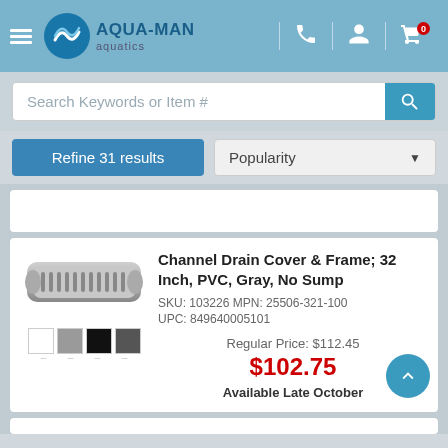Aqua-Man Aquatics
Search Keywords or Item #
Refine 31 results | Popularity
[Figure (photo): Channel drain cover product image; gray elongated drain with color swatches below (white, gray, black, dark gray)]
Channel Drain Cover & Frame; 32 Inch, PVC, Gray, No Sump
SKU: 103226 MPN: 25506-321-100
UPC: 849640005101
Regular Price: $112.45
$102.75
Available Late October